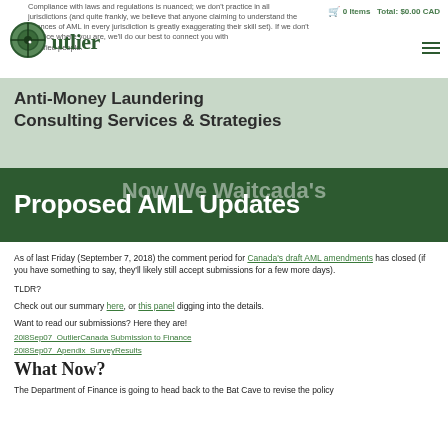Compliance with laws and regulations is nuanced; we don't practice in all jurisdictions (and quite frankly, we believe that anyone claiming to understand the nuances of AML in every jurisdiction is greatly exaggerating their skill set). If we don't practice where you are, we'll do our best to connect you with qualified people.
0 Items   Total: $0.00 CAD
[Figure (logo): Outlier logo with circular crosshair target icon and 'Outlier' text in dark green serif font]
Anti-Money Laundering Consulting Services & Strategies
Proposed AML Updates
As of last Friday (September 7, 2018) the comment period for Canada's draft AML amendments has closed (if you have something to say, they'll likely still accept submissions for a few more days).
TLDR?
Check out our summary here, or this panel digging into the details.
Want to read our submissions? Here they are!
20l8Sep07_OutlierCanada Submission to Finance
20l8Sep07_Apendix_SurveyResults
What Now?
The Department of Finance is going to head back to the Bat Cave to revise the policy